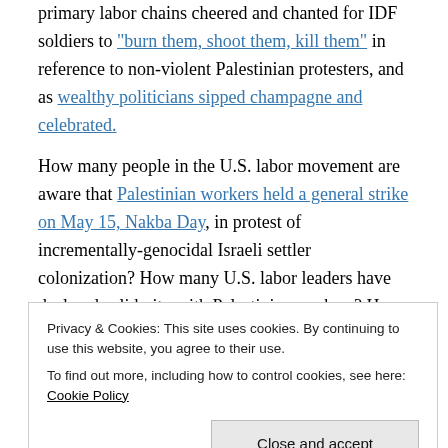primary labor chains cheered and chanted for IDF soldiers to "burn them, shoot them, kill them" in reference to non-violent Palestinian protesters, and as wealthy politicians sipped champagne and celebrated.
How many people in the U.S. labor movement are aware that Palestinian workers held a general strike on May 15, Nakba Day, in protest of incrementally-genocidal Israeli settler colonization? How many U.S. labor leaders have declared solidarity with Palestinian workers? How many U.S. labor unions have followed in the great tradition of transnational
Privacy & Cookies: This site uses cookies. By continuing to use this website, you agree to their use.
To find out more, including how to control cookies, see here: Cookie Policy
Close and accept
labor unions globally by declaring support for